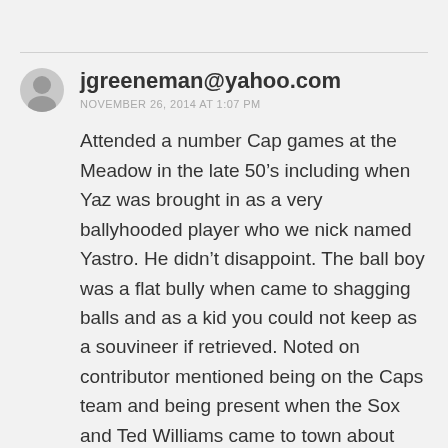jgreeneman@yahoo.com
NOVEMBER 26, 2014 AT 1:07 PM
Attended a number Cap games at the Meadow in the late 50’s including when Yaz was brought in as a very ballyhooded player who we nick named Yastro. He didn’t disappoint. The ball boy was a flat bully when came to shagging balls and as a kid you could not keep as a souvineer if retrieved. Noted on contributor mentioned being on the Caps team and being present when the Sox and Ted Williams came to town about 1959. My dad had one heck